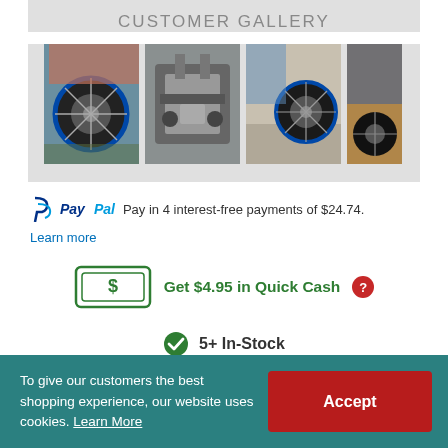CUSTOMER GALLERY
[Figure (photo): Customer gallery showing 4 photos of motorcycle/dirt bike wheels and parts]
PayPal Pay in 4 interest-free payments of $24.74. Learn more
[Figure (infographic): Dollar bill icon with Quick Cash offer: Get $4.95 in Quick Cash]
5+ In-Stock
Qty: 1
To give our customers the best shopping experience, our website uses cookies. Learn More
Accept
ADD TO CART